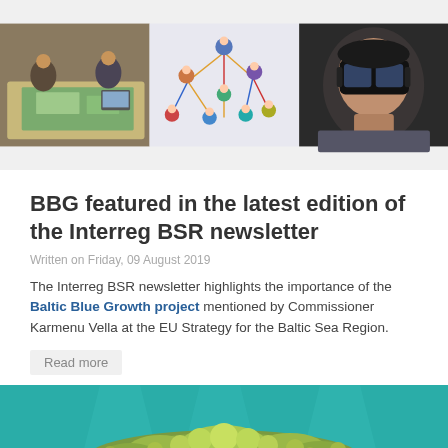[Figure (photo): Three-panel composite photo: left panel shows people gathered around a table with a map/game board, middle panel shows a network diagram with illustrated people icons connected by colored lines, right panel shows a person wearing a VR headset]
BBG featured in the latest edition of the Interreg BSR newsletter
Written on Friday, 09 August 2019
The Interreg BSR newsletter highlights the importance of the Baltic Blue Growth project mentioned by Commissioner Karmenu Vella at the EU Strategy for the Baltic Sea Region.
Read more
[Figure (photo): Underwater photo showing coral or seaweed on the sea floor with a teal/turquoise blue tinted water background]